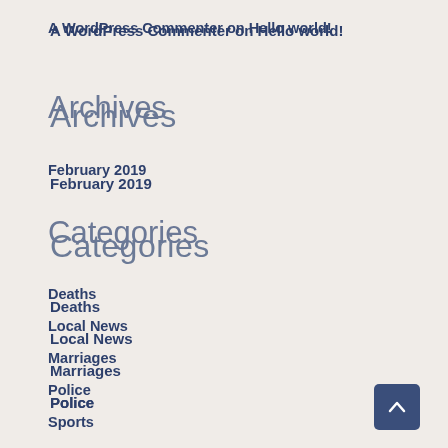A WordPress Commenter on Hello world!
Archives
February 2019
Categories
Deaths
Local News
Marriages
Police
Sports
Uncategorized
Meta